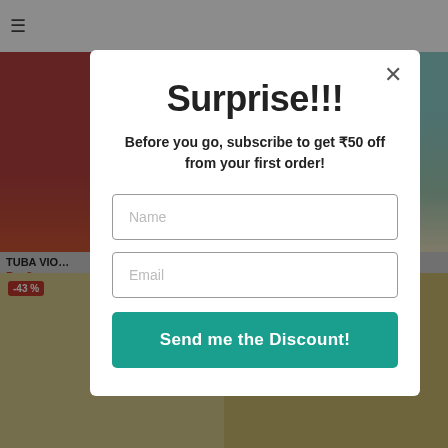[Figure (screenshot): E-commerce website background showing product listings with navigation bar, product cards (TUBA VIO... and INK SHO...), and bottom product row with -43% badge]
Surprise!!!
Before you go, subscribe to get ₹50 off from your first order!
Name
Email
Send me the Discount!